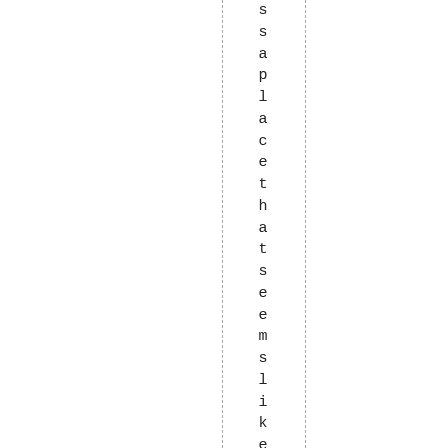s s a p l a c e t h a t s e e m s l i k e t h e y m i g h t t